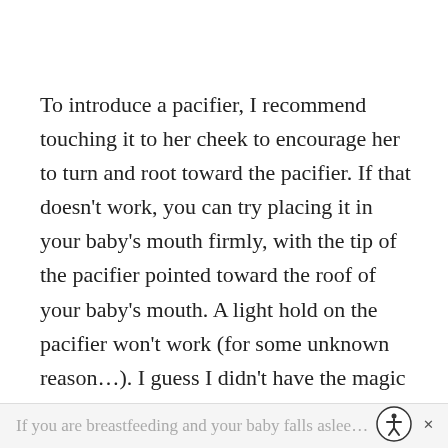To introduce a pacifier, I recommend touching it to her cheek to encourage her to turn and root toward the pacifier. If that doesn't work, you can try placing it in your baby's mouth firmly, with the tip of the pacifier pointed toward the roof of your baby's mouth. A light hold on the pacifier won't work (for some unknown reason…). I guess I didn't have the magic touch because I struggled with this, but my husband was a pro at getting the baby to take a pacifier.
If you are breastfeeding and your baby falls aslee…